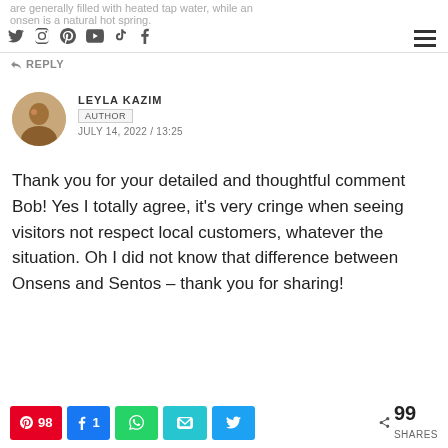are generally filled with heated tap water, while an onsen is a natural hot spring.
REPLY
LEYLA KAZIM
AUTHOR
JULY 14, 2022 / 13:25
Thank you for your detailed and thoughtful comment Bob! Yes I totally agree, it’s very cringe when seeing visitors not respect local customers, whatever the situation. Oh I did not know that difference between Onsens and Sentos – thank you for sharing!
98 Pinterest, 1 Facebook, WhatsApp, Email, Twitter — 99 SHARES